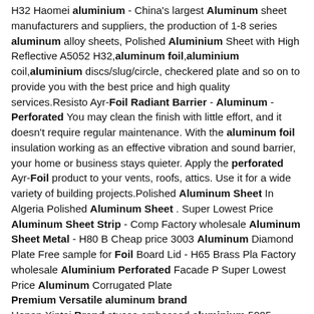H32 Haomei aluminium - China's largest Aluminum sheet manufacturers and suppliers, the production of 1-8 series aluminum alloy sheets, Polished Aluminium Sheet with High Reflective A5052 H32, aluminum foil, aluminium coil, aluminium discs/slug/circle, checkered plate and so on to provide you with the best price and high quality services.Resisto Ayr-Foil Radiant Barrier - Aluminum - Perforated You may clean the finish with little effort, and it doesn't require regular maintenance. With the aluminum foil insulation working as an effective vibration and sound barrier, your home or business stays quieter. Apply the perforated Ayr-Foil product to your vents, roofs, attics. Use it for a wide variety of building projects.Polished Aluminum Sheet In Algeria Polished Aluminum Sheet . Super Lowest Price Aluminum Sheet Strip - Comp Factory wholesale Aluminum Sheet Metal - H80 B Cheap price 3003 Aluminum Diamond Plate Free sample for Foil Board Lid - H65 Brass Pla Factory wholesale Aluminium Perforated Facade P Super Lowest Price Aluminum Corrugated Plate
Premium Versatile aluminum brand
Henan Xintai Brand stucco embossed aluminium 5005. $2,600.00-$3,000.00/ Metric Ton. 5 Metric Tons (Min. Order) CN